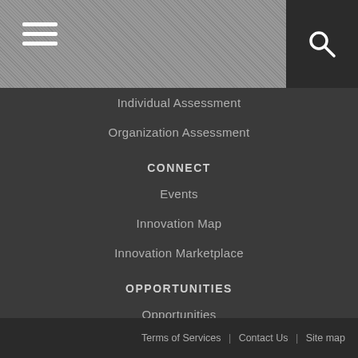Individual Assessment
Organization Assessment
CONNECT
Events
Innovation Map
Innovation Marketplace
OPPORTUNITIES
Opportunities
FOLLOW US:
[Figure (illustration): Three social media icons: Instagram, Twitter, Facebook]
Terms of Services | Contact Us | Site map